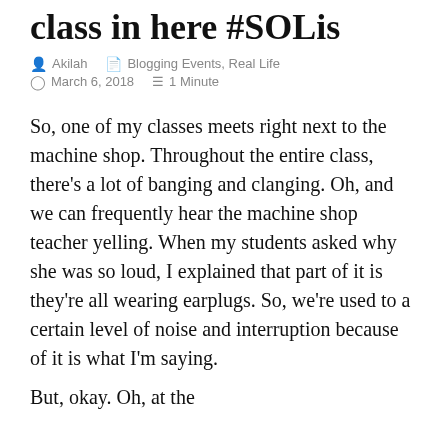class in here #SOLis
Akilah   Blogging Events, Real Life
March 6, 2018   1 Minute
So, one of my classes meets right next to the machine shop. Throughout the entire class, there's a lot of banging and clanging. Oh, and we can frequently hear the machine shop teacher yelling. When my students asked why she was so loud, I explained that part of it is they're all wearing earplugs. So, we're used to a certain level of noise and interruption because of it is what I'm saying.
But, okay. Oh, at the...